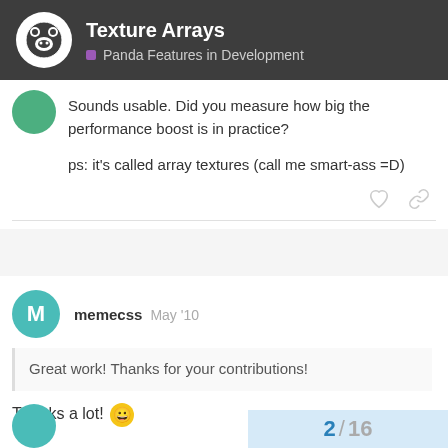Texture Arrays — Panda Features in Development
Sounds usable. Did you measure how big the performance boost is in practice?

ps: it's called array textures (call me smart-ass =D)
memecss  May '10
Great work! Thanks for your contributions!
Thanks a lot! 😀
2 / 16